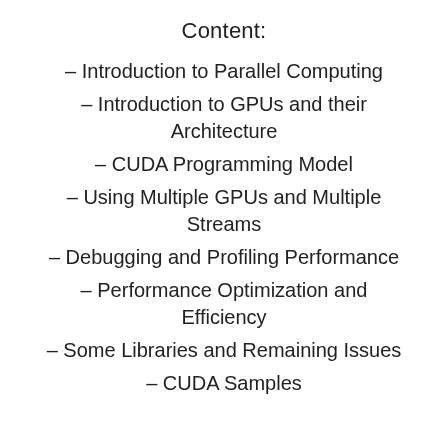Content:
– Introduction to Parallel Computing
– Introduction to GPUs and their Architecture
– CUDA Programming Model
– Using Multiple GPUs and Multiple Streams
– Debugging and Profiling Performance
– Performance Optimization and Efficiency
– Some Libraries and Remaining Issues
– CUDA Samples